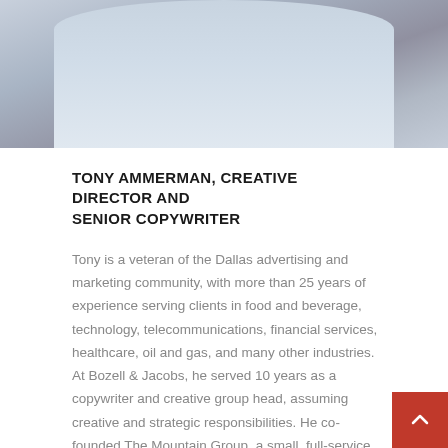[Figure (photo): Partial photo of a man in a light blue plaid shirt, cropped at the shoulders and above, showing the upper torso and shirt collar area.]
TONY AMMERMAN, CREATIVE DIRECTOR AND SENIOR COPYWRITER
Tony is a veteran of the Dallas advertising and marketing community, with more than 25 years of experience serving clients in food and beverage, technology, telecommunications, financial services, healthcare, oil and gas, and many other industries. At Bozell & Jacobs, he served 10 years as a copywriter and creative group head, assuming creative and strategic responsibilities. He co-founded The Mountain Group, a small, full-service print and digital agency serving national